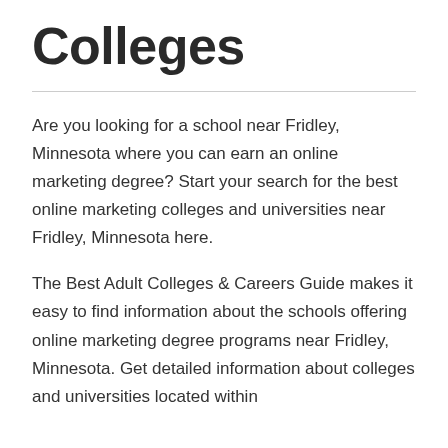Colleges
Are you looking for a school near Fridley, Minnesota where you can earn an online marketing degree? Start your search for the best online marketing colleges and universities near Fridley, Minnesota here.
The Best Adult Colleges & Careers Guide makes it easy to find information about the schools offering online marketing degree programs near Fridley, Minnesota. Get detailed information about colleges and universities located within